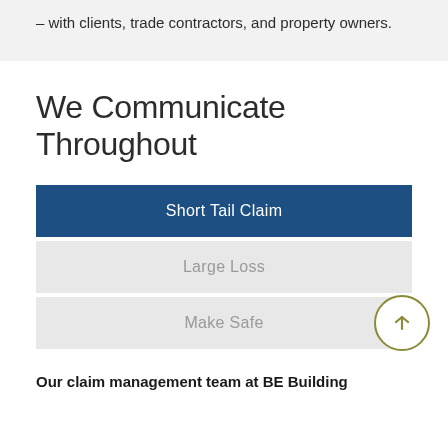– with clients, trade contractors, and property owners.
We Communicate Throughout
Short Tail Claim
Large Loss
Make Safe
Our claim management team at BE Building